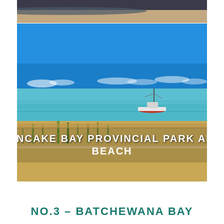[Figure (photo): Partial top image showing a sandy beach with dark water at the top edge of the page]
[Figure (photo): Beach scene at Pancake Bay Provincial Park with bright blue sky, turquoise Lake Superior water, sandy dunes with beach grass in foreground, and a fishing boat anchored offshore. White overlay text reads 'PANCAKE BAY PROVINCIAL PARK AND BEACH']
NO.3 – BATCHEWANA BAY